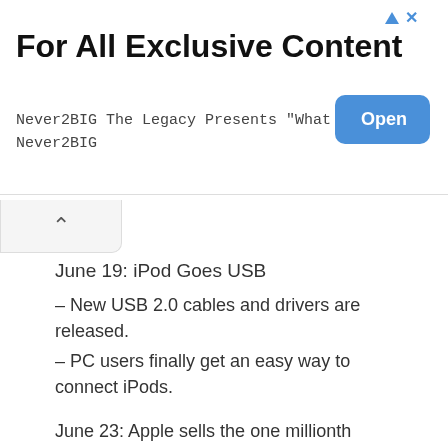For All Exclusive Content
Never2BIG The Legacy Presents "What I Did"
Never2BIG
June 19: iPod Goes USB
– New USB 2.0 cables and drivers are released.
– PC users finally get an easy way to connect iPods.
June 23: Apple sells the one millionth iPod, more than a year and a half after the release of the device.
September 8: Third-Gen iPod Updated